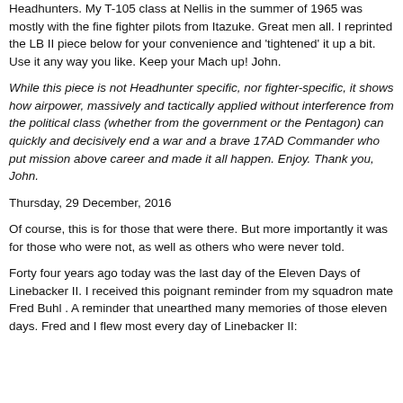Headhunters. My T-105 class at Nellis in the summer of 1965 was mostly with the fine fighter pilots from Itazuke. Great men all. I reprinted the LB II piece below for your convenience and 'tightened' it up a bit. Use it any way you like. Keep your Mach up! John.
While this piece is not Headhunter specific, nor fighter-specific, it shows how airpower, massively and tactically applied without interference from the political class (whether from the government or the Pentagon) can quickly and decisively end a war and a brave 17AD Commander who put mission above career and made it all happen. Enjoy. Thank you, John.
Thursday, 29 December, 2016
Of course, this is for those that were there. But more importantly it was for those who were not, as well as others who were never told.
Forty four years ago today was the last day of the Eleven Days of Linebacker II. I received this poignant reminder from my squadron mate Fred Buhl . A reminder that unearthed many memories of those eleven days. Fred and I flew most every day of Linebacker II: